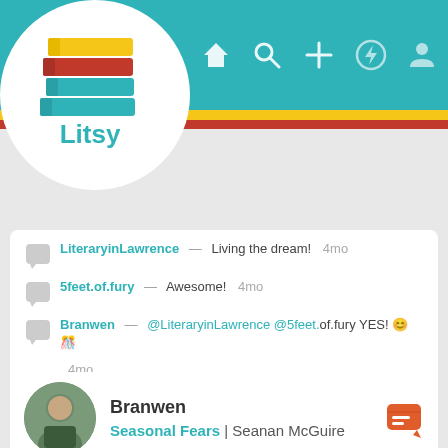[Figure (screenshot): Litsy app header with teal background, stacked books logo, and navigation icons (home, search, plus, lightning, person)]
LiteraryinLawrence — Living the dream! 4mo
5feet.of.fury — Awesome! 4mo
Branwen — @LiteraryinLawrence @5feet.of.fury YES! 😊🎉 4mo
52 likes   3 comments
Branwen
Seasonal Fears | Seanan McGuire